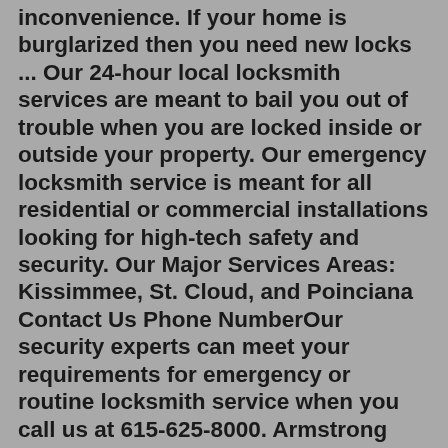inconvenience. If your home is burglarized then you need new locks ... Our 24-hour local locksmith services are meant to bail you out of trouble when you are locked inside or outside your property. Our emergency locksmith service is meant for all residential or commercial installations looking for high-tech safety and security. Our Major Services Areas: Kissimmee, St. Cloud, and Poinciana Contact Us Phone NumberOur security experts can meet your requirements for emergency or routine locksmith service when you call us at 615-625-8000. Armstrong Locksmith is the leading Nashville locksmith, proudly offering full locksmith services for Automotive, Residential, and Commercial businesses. Whether you’re in need of emergency lockout assistance, rekeying ... Our residential services include all types of locks for doors, safes, cabinets, windows or deadbolts, as well as gun safes, padlocks, luggage or bicycles. And our commercial locksmith services in Manassas VA include repairs and replacements, as well as combination changes when necessary.